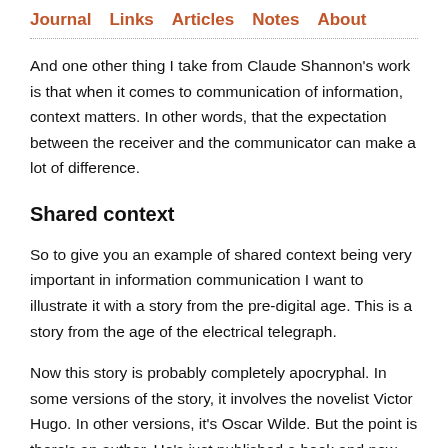Journal   Links   Articles   Notes   About
And one other thing I take from Claude Shannon's work is that when it comes to communication of information, context matters. In other words, that the expectation between the receiver and the communicator can make a lot of difference.
Shared context
So to give you an example of shared context being very important in information communication I want to illustrate it with a story from the pre-digital age. This is a story from the age of the electrical telegraph.
Now this story is probably completely apocryphal. In some versions of the story, it involves the novelist Victor Hugo. In other versions, it's Oscar Wilde. But the point is there's an author. He's just published a book and now he's gone off on holiday after writing the book. But while he's on holiday, he's